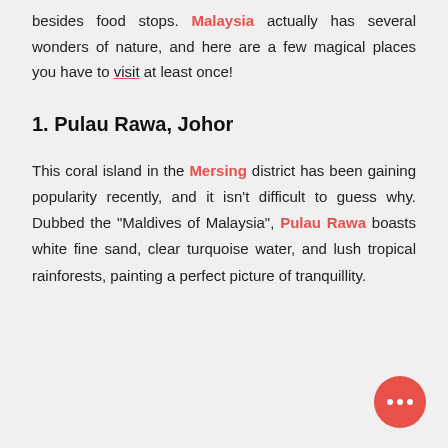besides food stops. Malaysia actually has several wonders of nature, and here are a few magical places you have to visit at least once!
1. Pulau Rawa, Johor
This coral island in the Mersing district has been gaining popularity recently, and it isn't difficult to guess why. Dubbed the "Maldives of Malaysia", Pulau Rawa boasts white fine sand, clear turquoise water, and lush tropical rainforests, painting a perfect picture of tranquillity.